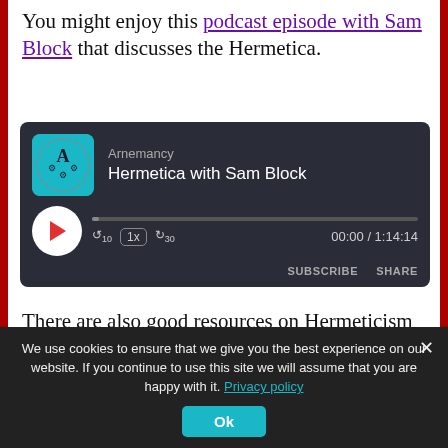You might enjoy this podcast episode with Sam Block that discusses the Hermetica.
[Figure (screenshot): Podcast player widget with dark background showing Arnemancy podcast, episode 'Hermetica with Sam Block'. Shows podcast logo, play button, progress bar, speed controls (1x), skip buttons (10s back, 30s forward), time display 00:00 / 1:14:14, and Subscribe/Share buttons.]
There are also good resources on Hermeticism on YouTube, but they can be tough to find. Dan Attrell's channel, The Modern Hermeticist, has lots of high
We use cookies to ensure that we give you the best experience on our website. If you continue to use this site we will assume that you are happy with it. Privacy policy
Ok